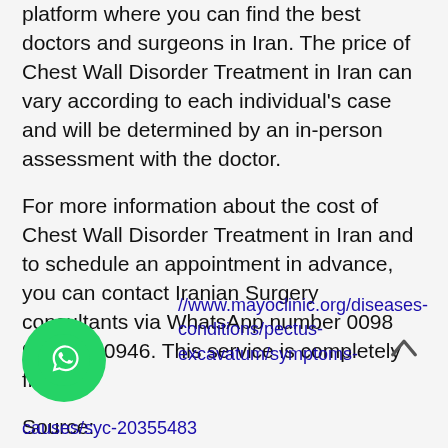platform where you can find the best doctors and surgeons in Iran. The price of Chest Wall Disorder Treatment in Iran can vary according to each individual's case and will be determined by an in-person assessment with the doctor.
For more information about the cost of Chest Wall Disorder Treatment in Iran and to schedule an appointment in advance, you can contact Iranian Surgery consultants via WhatsApp number 0098 901 929 0946. This service is completely free.
Source:
//www.mayoclinic.org/diseases-conditions/pectus-excavatum/symptoms-causes/syc-20355483